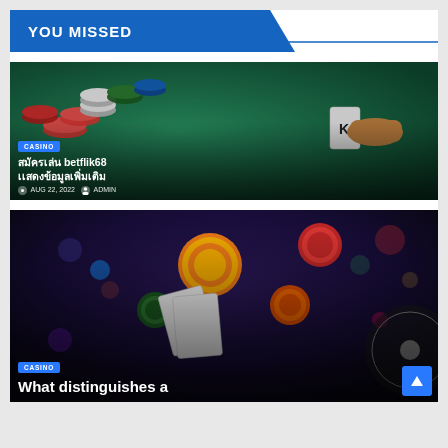YOU MISSED
[Figure (photo): Casino table with poker chips (red, white, green, blue) and a hand holding a playing card on a green felt surface]
CASINO
สมัครเล่น betflik68 เเสดงข้อมูลเพิ่มเติม
AUG 22, 2022  ADMIN
[Figure (photo): Casino chips (orange, red, green) flying through the air with playing cards and a roulette wheel in background against dark background]
CASINO
What distinguishes a